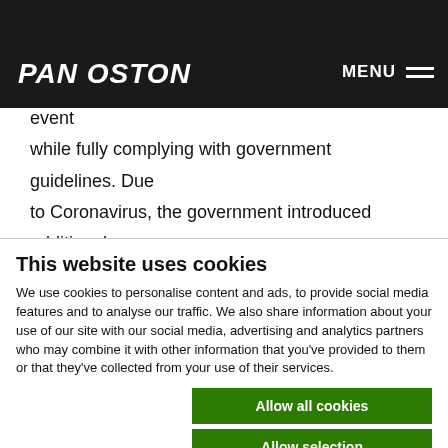Pan Oston | MENU
Retail Outlook faced a significant challenge during its 2020 Retail Outlook event – how to run their event while fully complying with government guidelines. Due to Coronavirus, the government introduced additional regulations and guidelines that Retail Outlook were required to comply with for their event to go ahead
This website uses cookies
We use cookies to personalise content and ads, to provide social media features and to analyse our traffic. We also share information about your use of our site with our social media, advertising and analytics partners who may combine it with other information that you've provided to them or that they've collected from your use of their services.
Allow all cookies
Allow selection
Use necessary cookies only
Necessary | Preferences | Statistics | Marketing | Show details